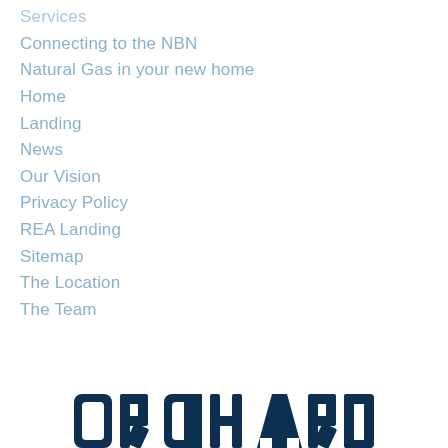Services
Connecting to the NBN
Natural Gas in your new home
Home
Landing
News
Our Vision
Privacy Policy
REA Landing
Sitemap
The Location
The Team
[Figure (logo): ORCHARD logo in dark navy blue, bold rounded block letters at bottom of page]